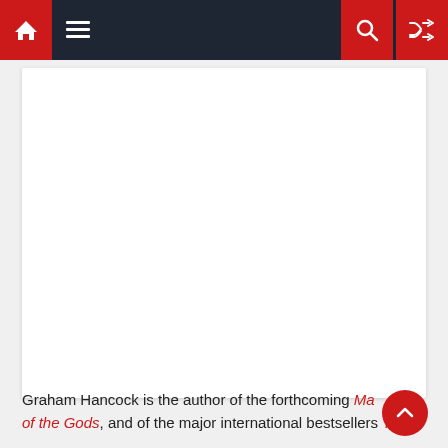Navigation bar with home, menu, search, and shuffle icons
[Figure (other): White content box / image placeholder area]
Graham Hancock is the author of the forthcoming Magicians of the Gods, and of the major international bestsellers The